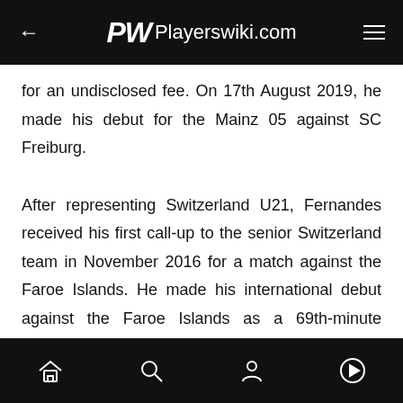PW Playerswiki.com
for an undisclosed fee. On 17th August 2019, he made his debut for the Mainz 05 against SC Freiburg.
After representing Switzerland U21, Fernandes received his first call-up to the senior Switzerland team in November 2016 for a match against the Faroe Islands. He made his international debut against the Faroe Islands as a 69th-minute substitute.
ADVERTISEMENT
Navigation bar with home, search, profile, and play icons